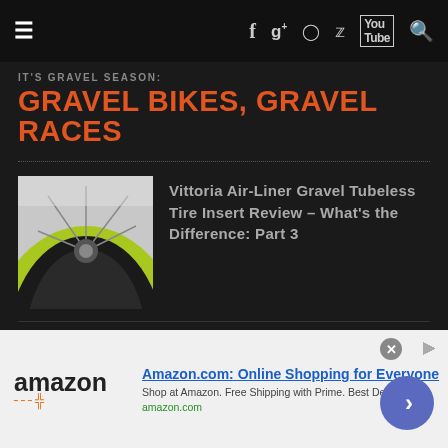Navigation bar with hamburger menu, Facebook, Google+, Instagram, Twitter, YouTube, Search icons
IT'S GRAVEL SEASON: GRAVEL BIKES, GRAVEL RACES
[Figure (photo): Close-up photo of a green and black tubeless bicycle tire on a wheel]
Vittoria Air-Liner Gravel Tubeless Tire Insert Review – What's the Difference: Part 3
[Figure (photo): Photo of a titanium gravel bike handlebar and frame close-up, dark background]
T-LAB Introduces X3.22 Titanium Gravel Bike and Frameset
[Figure (screenshot): Amazon advertisement banner: Amazon.com: Online Shopping for Everyone. Shop at Amazon. Free Shipping with Prime. Best Deals Ever! amazon.com]